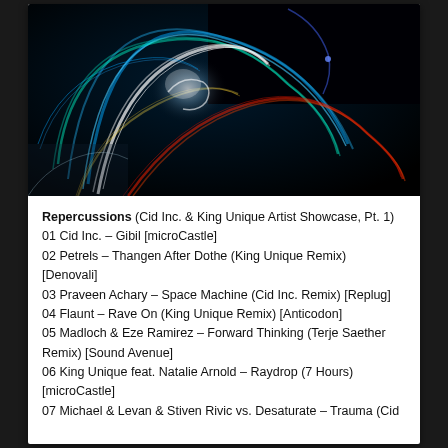[Figure (photo): Abstract long-exposure light trails forming spiral/swirl pattern with blue, white, and red streaks on dark background]
Repercussions (Cid Inc. & King Unique Artist Showcase, Pt. 1) 01 Cid Inc. – Gibil [microCastle] 02 Petrels – Thangen After Dothe (King Unique Remix) [Denovali] 03 Praveen Achary – Space Machine (Cid Inc. Remix) [Replug] 04 Flaunt – Rave On (King Unique Remix) [Anticodon] 05 Madloch & Eze Ramirez – Forward Thinking (Terje Saether Remix) [Sound Avenue] 06 King Unique feat. Natalie Arnold – Raydrop (7 Hours) [microCastle] 07 Michael & Levan & Stiven Rivic vs. Desaturate – Trauma (Cid